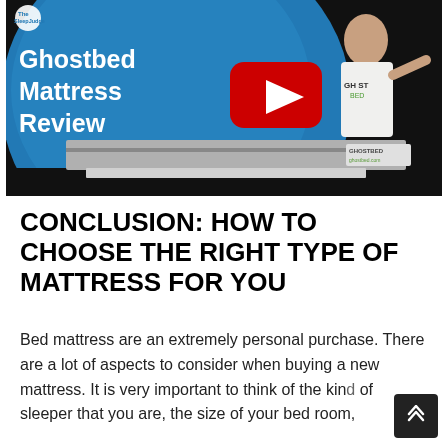[Figure (screenshot): YouTube video thumbnail for 'Ghostbed Mattress Review' by The Sleep Judge. Shows a blue circular background with white bold text reading 'Ghostbed Mattress Review', a YouTube play button (red with white triangle), and a person wearing a GhostBed shirt standing next to a GhostBed mattress.]
CONCLUSION: HOW TO CHOOSE THE RIGHT TYPE OF MATTRESS FOR YOU
Bed mattress are an extremely personal purchase. There are a lot of aspects to consider when buying a new mattress. It is very important to think of the kind of sleeper that you are, the size of your bed room,